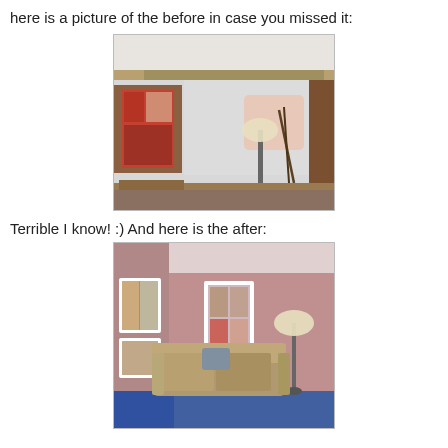here is a picture of the before in case you missed it:
[Figure (photo): Interior room photo showing a wall being renovated/replastered. Wall has white plaster texture with a pink patch, a window with wooden frame on the left showing a red area beyond, a floor lamp in the center-right, and wood panels on the far right. Brown sofa visible at bottom.]
Terrible I know! :) And here is the after:
[Figure (photo): Interior living room photo after renovation. Walls painted mauve/pink. A tan/beige sofa with a decorative pillow sits in the center. Two windows with white frames on the left wall. A floor lamp stands to the right. Blue carpet on the floor.]